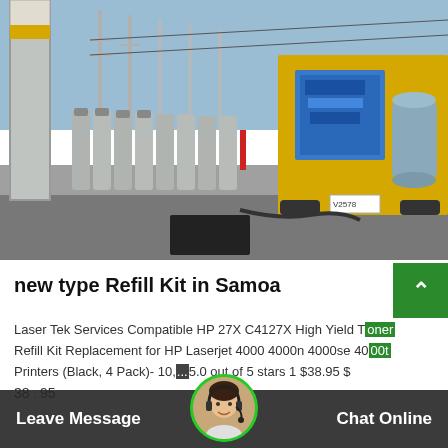[Figure (photo): Industrial facility showing gas cylinders lined up near an electrical substation with transmission towers; a yellow crane/truck with blue machinery and a drum barrel is visible on the right side, with a white building in the background under a blue sky.]
new type Refill Kit in Samoa
Laser Tek Services Compatible HP 27X C4127X High Yield Toner Refill Kit Replacement for HP Laserjet 4000 4000n 4000se 4000t Printers (Black, 4 Pack)- 10,... 5.0 out of 5 stars 1 $38.95 $ 38 . 95
Leave Message
Chat Online